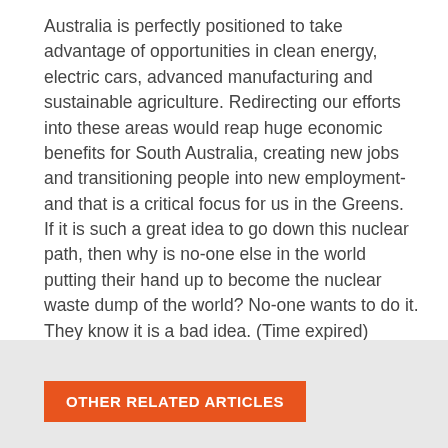Australia is perfectly positioned to take advantage of opportunities in clean energy, electric cars, advanced manufacturing and sustainable agriculture. Redirecting our efforts into these areas would reap huge economic benefits for South Australia, creating new jobs and transitioning people into new employment-and that is a critical focus for us in the Greens.
If it is such a great idea to go down this nuclear path, then why is no-one else in the world putting their hand up to become the nuclear waste dump of the world? No-one wants to do it. They know it is a bad idea. (Time expired)
< Back to All News
OTHER RELATED ARTICLES